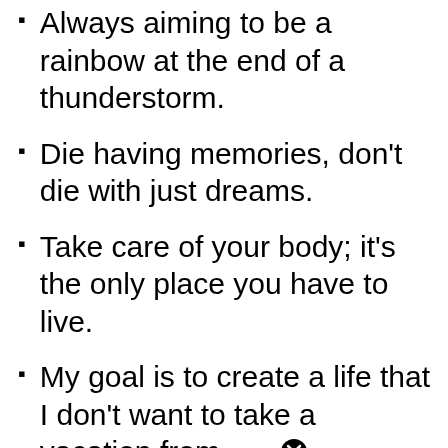Always aiming to be a rainbow at the end of a thunderstorm.
Die having memories, don't die with just dreams.
Take care of your body; it's the only place you have to live.
My goal is to create a life that I don't want to take a vacation from.
...